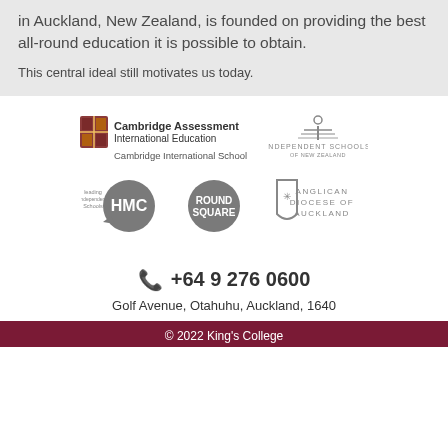in Auckland, New Zealand, is founded on providing the best all-round education it is possible to obtain.
This central ideal still motivates us today.
[Figure (logo): Cambridge Assessment International Education - Cambridge International School logo]
[Figure (logo): Independent Schools of New Zealand logo]
[Figure (logo): HMC Leading Independent Schools logo]
[Figure (logo): Round Square logo]
[Figure (logo): Anglican Diocese of Auckland logo]
+64 9 276 0600
Golf Avenue, Otahuhu, Auckland, 1640
© 2022 King's College